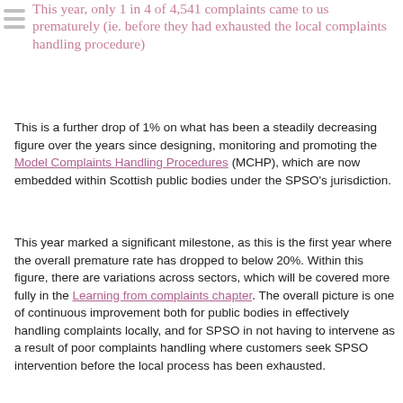This year, only 1 in 4 of 4,541 complaints come to us prematurely (ie. before they had exhausted the local complaints handling procedure)
This is a further drop of 1% on what has been a steadily decreasing figure over the years since designing, monitoring and promoting the Model Complaints Handling Procedures (MCHP), which are now embedded within Scottish public bodies under the SPSO's jurisdiction.
This year marked a significant milestone, as this is the first year where the overall premature rate has dropped to below 20%. Within this figure, there are variations across sectors, which will be covered more fully in the Learning from complaints chapter. The overall picture is one of continuous improvement both for public bodies in effectively handling complaints locally, and for SPSO in not having to intervene as a result of poor complaints handling where customers seek SPSO intervention before the local process has been exhausted.